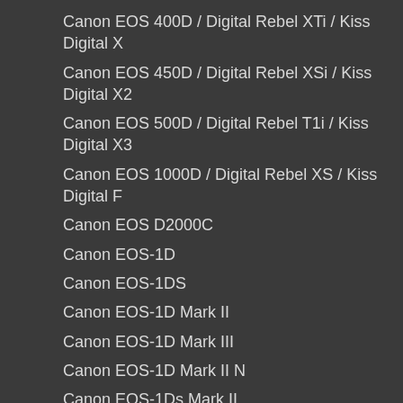Canon EOS 400D / Digital Rebel XTi / Kiss Digital X
Canon EOS 450D / Digital Rebel XSi / Kiss Digital X2
Canon EOS 500D / Digital Rebel T1i / Kiss Digital X3
Canon EOS 1000D / Digital Rebel XS / Kiss Digital F
Canon EOS D2000C
Canon EOS-1D
Canon EOS-1DS
Canon EOS-1D Mark II
Canon EOS-1D Mark III
Canon EOS-1D Mark II N
Canon EOS-1Ds Mark II
Canon EOS-1Ds Mark III
Casio QV-2000UX
Casio QV-3000EX
Casio QV-3500EX
Casio QV-4000
Casio QV-5700
Casio QV-R41